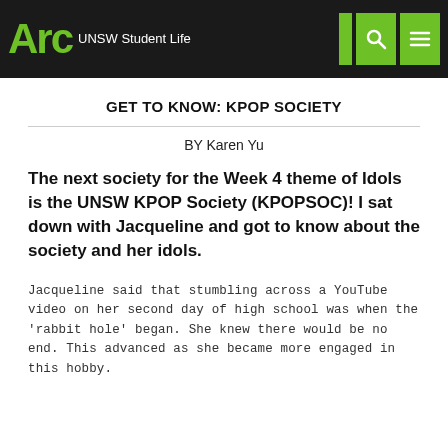ARC UNSW Student Life
GET TO KNOW: KPOP SOCIETY
BY Karen Yu
The next society for the Week 4 theme of Idols is the UNSW KPOP Society (KPOPSOC)! I sat down with Jacqueline and got to know about the society and her idols.
Jacqueline said that stumbling across a YouTube video on her second day of high school was when the ‘rabbit hole’ began. She knew there would be no end. This advanced as she became more engaged in this hobby.